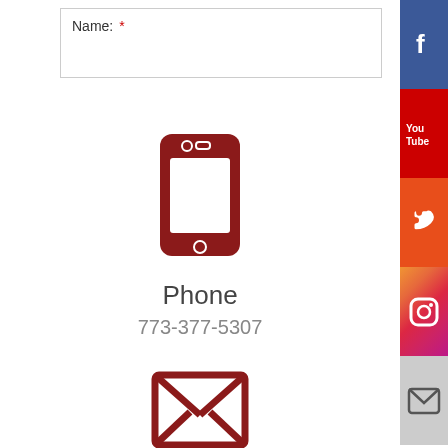Name: *
[Figure (illustration): Dark red smartphone icon]
Phone
773-377-5307
[Figure (illustration): Dark red email/envelope icon]
[Figure (infographic): Social media sidebar icons: Facebook, YouTube, Phone, Instagram, Email]